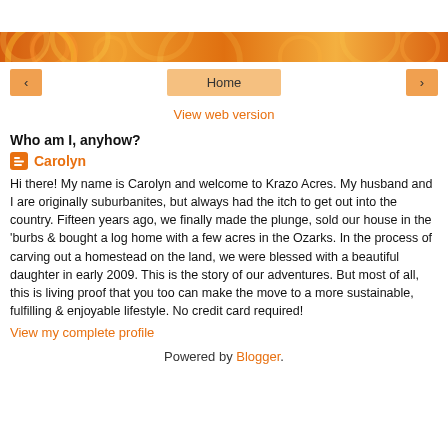[Figure (illustration): Orange decorative banner header with circular swirl patterns in warm orange and yellow tones]
< Home >
View web version
Who am I, anyhow?
Carolyn
Hi there! My name is Carolyn and welcome to Krazo Acres. My husband and I are originally suburbanites, but always had the itch to get out into the country. Fifteen years ago, we finally made the plunge, sold our house in the ‘burbs & bought a log home with a few acres in the Ozarks. In the process of carving out a homestead on the land, we were blessed with a beautiful daughter in early 2009. This is the story of our adventures. But most of all, this is living proof that you too can make the move to a more sustainable, fulfilling & enjoyable lifestyle. No credit card required!
View my complete profile
Powered by Blogger.